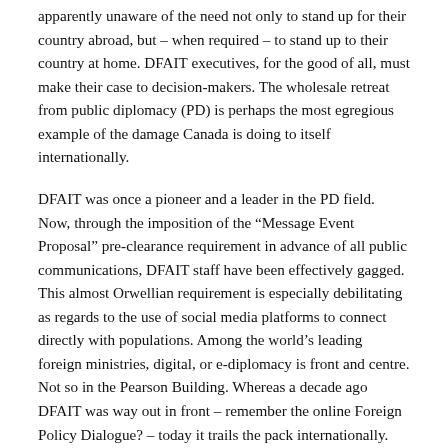apparently unaware of the need not only to stand up for their country abroad, but – when required – to stand up to their country at home. DFAIT executives, for the good of all, must make their case to decision-makers. The wholesale retreat from public diplomacy (PD) is perhaps the most egregious example of the damage Canada is doing to itself internationally.
DFAIT was once a pioneer and a leader in the PD field. Now, through the imposition of the "Message Event Proposal" pre-clearance requirement in advance of all public communications, DFAIT staff have been effectively gagged. This almost Orwellian requirement is especially debilitating as regards to the use of social media platforms to connect directly with populations. Among the world's leading foreign ministries, digital, or e-diplomacy is front and centre. Not so in the Pearson Building. Whereas a decade ago DFAIT was way out in front – remember the online Foreign Policy Dialogue? – today it trails the pack internationally.